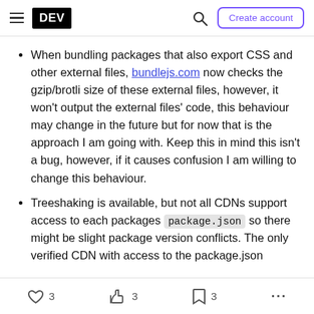DEV | Create account
When bundling packages that also export CSS and other external files, bundlejs.com now checks the gzip/brotli size of these external files, however, it won't output the external files' code, this behaviour may change in the future but for now that is the approach I am going with. Keep this in mind this isn't a bug, however, if it causes confusion I am willing to change this behaviour.
Treeshaking is available, but not all CDNs support access to each packages package.json so there might be slight package version conflicts. The only verified CDN with access to the package.json
3   3   3   ...